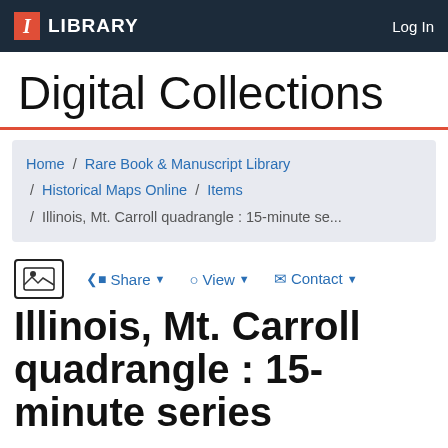I LIBRARY   Log In
Digital Collections
Home / Rare Book & Manuscript Library / Historical Maps Online / Items / Illinois, Mt. Carroll quadrangle : 15-minute se...
Share   View   Contact
Illinois, Mt. Carroll quadrangle : 15-minute series